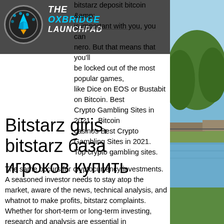THE OXBRIDGE LAUNCHPAD
bitstarz deposit bitcoin &amp; is important with you, you can nero. But that means that you'll be locked out of the most popular games, like Dice on EOS or Bustabit on Bitcoin. Best Crypto Gambling Sites in 2021, . Bitcoin casinos Best Crypto Gambling Sites in 2021. Top crypto gambling sites.
Bitstarz giris, bitstarz база игроков купить
The same occurs for cryptocurrency investments. A seasoned investor needs to stay atop the market, aware of the news, technical analysis, and whatnot to make profits, bitstarz complaints. Whether for short-term or long-term investing, research and analysis are essential in cryptocurrency. As sports bettors have prediction sites, so do cryptocurrency investor who has platforms that project growth and measure a particular
[Figure (photo): Outdoor canal or riverside scene with trees and a bridge, green park area]